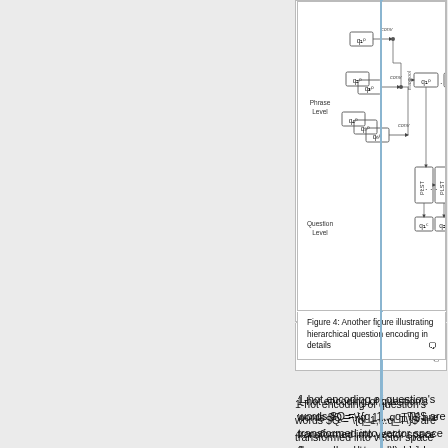[Figure (schematic): Hierarchical question encoding diagram showing Phrase Level with convolution operations on q vectors and Question Level with PLST/LSTM cells, arrows indicating data flow between levels]
Figure 4: Another figure illustrating hierarchical question encoding in details
1-hot encoding of question's words $Q = \{q_1,...q_T\}$ are transformed into vector space (learned end-to-end) which represents word level embeddings of a visual question i.e. $Q^w = \ {q^w_1,...q^w_T\}$. Paper has learned this transformation end-to-end instead of some pretrained models such as word2vec.
Phrase Level